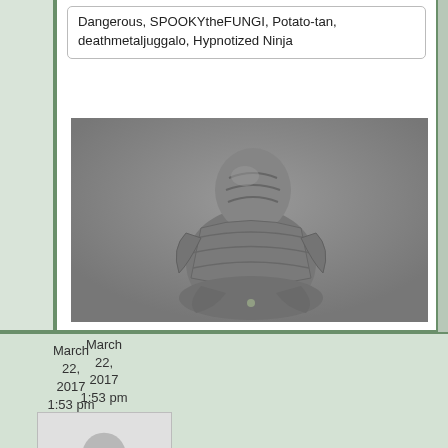Dangerous, SPOOKYtheFUNGI, Potato-tan, deathmetaljuggalo, Hypnotized Ninja
[Figure (illustration): Grayscale fantasy creature illustration, appears to be a large humanoid figure wrapped in cloth/bandages, sitting or crouching]
March 22, 2017
1:53 pm
[Figure (photo): Default user avatar - silhouette of a person on light grey background]
bayAreaShaman
Member
Forum Posts: 3149
Member Since: February 13